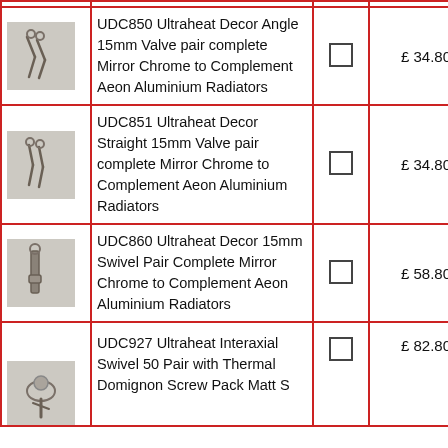| Image | Description | Select | Price |
| --- | --- | --- | --- |
| [valve image] | UDC850 Ultraheat Decor Angle 15mm Valve pair complete Mirror Chrome to Complement Aeon Aluminium Radiators | ☐ | £ 34.80 |
| [valve image] | UDC851 Ultraheat Decor Straight 15mm Valve pair complete Mirror Chrome to Complement Aeon Aluminium Radiators | ☐ | £ 34.80 |
| [valve image] | UDC860 Ultraheat Decor 15mm Swivel Pair Complete Mirror Chrome to Complement Aeon Aluminium Radiators | ☐ | £ 58.80 |
| [valve image] | UDC927 Ultraheat Interaxial Swivel 50 Pair with Thermal Domignon Screw Pack Matt S... | ☐ | £ 82.80 |